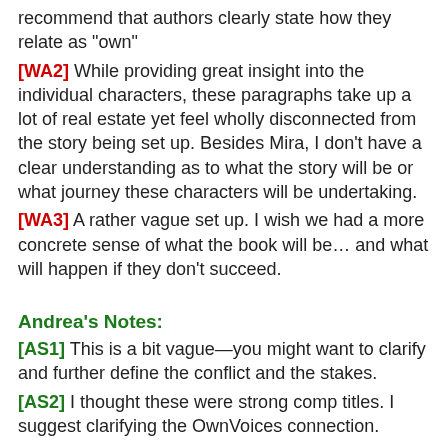recommend that authors clearly state how they relate as "own"
[WA2] While providing great insight into the individual characters, these paragraphs take up a lot of real estate yet feel wholly disconnected from the story being set up. Besides Mira, I don't have a clear understanding as to what the story will be or what journey these characters will be undertaking.
[WA3] A rather vague set up. I wish we had a more concrete sense of what the book will be… and what will happen if they don't succeed.
Andrea's Notes:
[AS1] This is a bit vague—you might want to clarify and further define the conflict and the stakes.
[AS2] I thought these were strong comp titles. I suggest clarifying the OwnVoices connection.
The way the query structured is a bit confusing—which makes sense, as it can be challenging to introduce three separate story lines, especially if they span time and space! What I suggest doing is starting with the description of